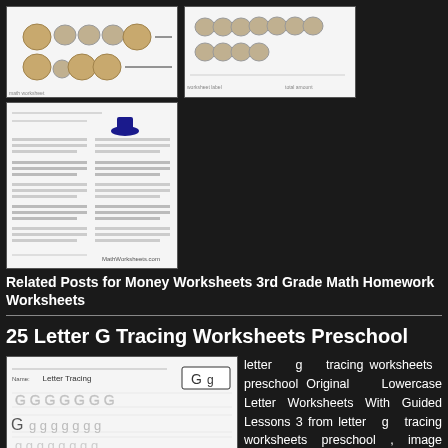[Figure (screenshot): Thumbnail of money counting worksheet with coins]
[Figure (screenshot): Thumbnail of money counting worksheet with coins]
[Figure (screenshot): Thumbnail of math homework worksheet with text columns]
Related Posts for Money Worksheets 3rd Grade Math Homework Worksheets
25 Letter G Tracing Worksheets Preschool
[Figure (screenshot): Thumbnail of Letter G tracing worksheet showing dotted letter G practice rows]
letter g tracing worksheets preschool Original Lowercase Letter Worksheets With Guided Lessons 3 from letter g tracing worksheets preschool , image source: aaron…